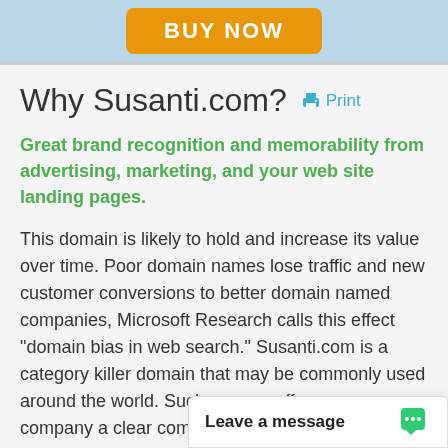[Figure (other): Orange BUY NOW button on light blue banner background]
Why Susanti.com?
Great brand recognition and memorability from advertising, marketing, and your web site landing pages.
This domain is likely to hold and increase its value over time. Poor domain names lose traffic and new customer conversions to better domain named companies, Microsoft Research calls this effect "domain bias in web search." Susanti.com is a category killer domain that may be commonly used around the world. Such a name offers your company a clear competitive a…
Leave a message